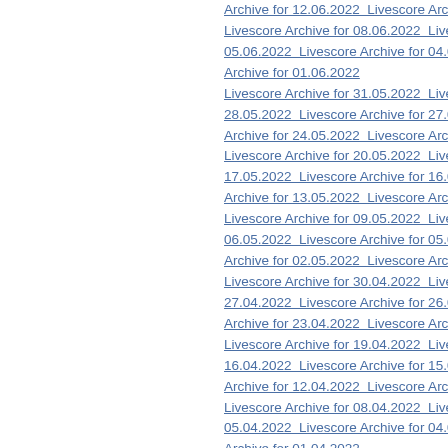Archive for 12.06.2022   Livescore Archive fo
Livescore Archive for 08.06.2022   Livescore
05.06.2022   Livescore Archive for 04.06.202
Archive for 01.06.2022
Livescore Archive for 31.05.2022   Livescore
28.05.2022   Livescore Archive for 27.05.202
Archive for 24.05.2022   Livescore Archive fo
Livescore Archive for 20.05.2022   Livescore
17.05.2022   Livescore Archive for 16.05.202
Archive for 13.05.2022   Livescore Archive fo
Livescore Archive for 09.05.2022   Livescore
06.05.2022   Livescore Archive for 05.05.202
Archive for 02.05.2022   Livescore Archive for
Livescore Archive for 30.04.2022   Livescore
27.04.2022   Livescore Archive for 26.04.202
Archive for 23.04.2022   Livescore Archive fo
Livescore Archive for 19.04.2022   Livescore
16.04.2022   Livescore Archive for 15.04.202
Archive for 12.04.2022   Livescore Archive fo
Livescore Archive for 08.04.2022   Livescore
05.04.2022   Livescore Archive for 04.04.202
Archive for 01.04.2022
Livescore Archive for 31.03.2022   Livescore
28.03.2022   Livescore Archive for 27.03.202
Archive for 24.03.2022   Livescore Archive fo